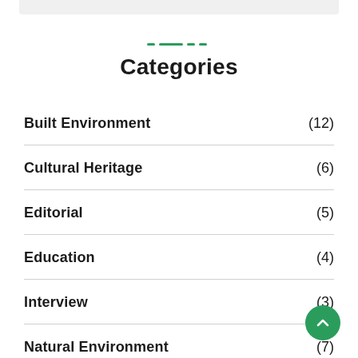Categories
Built Environment (12)
Cultural Heritage (6)
Editorial (5)
Education (4)
Interview (3)
Natural Environment (7)